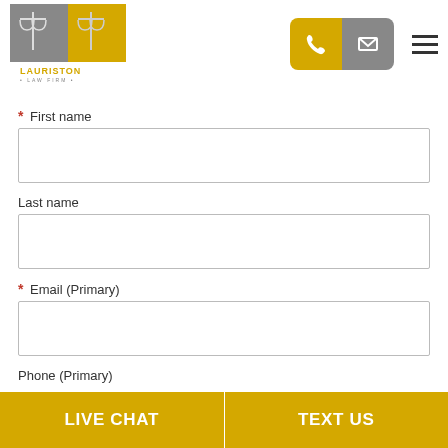[Figure (logo): Lauriston Law Firm logo with scales of justice icon in grey and gold squares]
First name
Last name
Email (Primary)
Phone (Primary)
LIVE CHAT
TEXT US